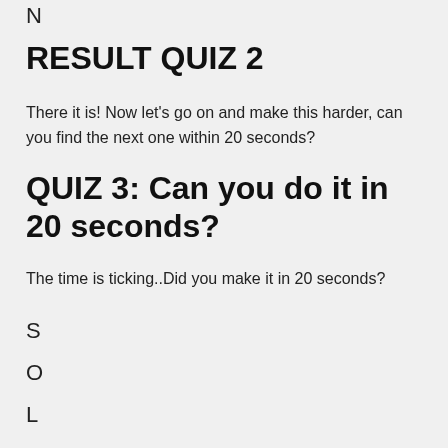N
RESULT QUIZ 2
There it is! Now let's go on and make this harder, can you find the next one within 20 seconds?
QUIZ 3: Can you do it in 20 seconds?
The time is ticking..Did you make it in 20 seconds?
S
O
L
U